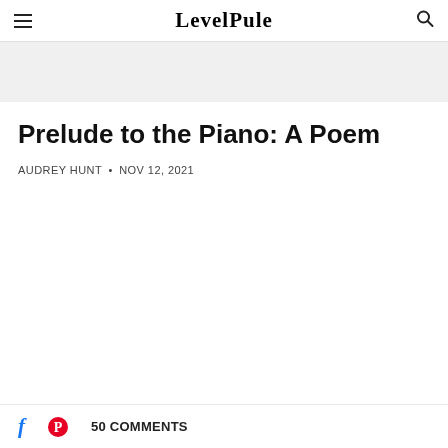LevelPile
Prelude to the Piano: A Poem
AUDREY HUNT • NOV 12, 2021
50 COMMENTS